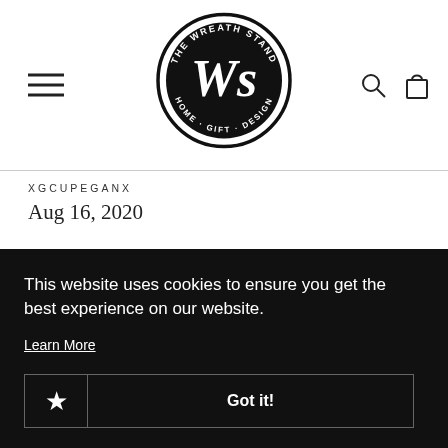[Figure (logo): The Wreath Stand - Home · Gift · Design circular logo with WS monogram in center]
XGCUPEGANX
Aug 16, 2020
This website uses cookies to ensure you get the best experience on our website.
Learn More
Got it!